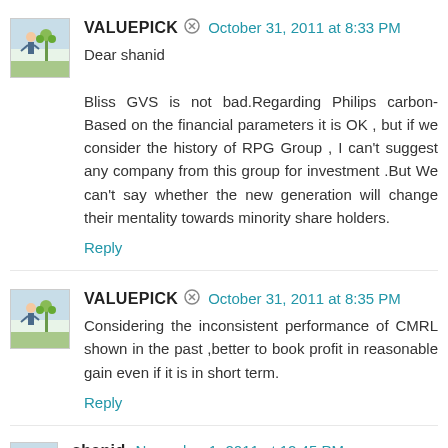VALUEPICK  October 31, 2011 at 8:33 PM
Dear shanid

Bliss GVS is not bad.Regarding Philips carbon- Based on the financial parameters it is OK , but if we consider the history of RPG Group , I can't suggest any company from this group for investment .But We can't say whether the new generation will change their mentality towards minority share holders.
Reply
VALUEPICK  October 31, 2011 at 8:35 PM
Considering the inconsistent performance of CMRL shown in the past ,better to book profit in reasonable gain even if it is in short term.
Reply
shanid  November 1, 2011 at 12:45 PM